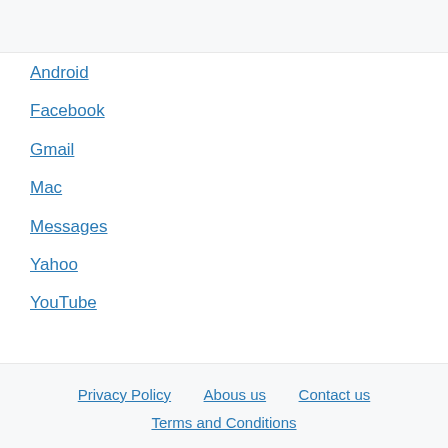Android
Facebook
Gmail
Mac
Messages
Yahoo
YouTube
Privacy Policy   Abous us   Contact us
Terms and Conditions